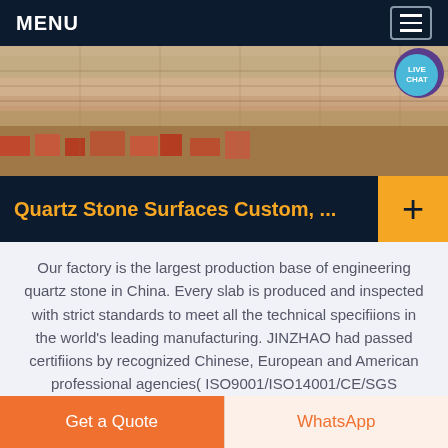MENU
[Figure (photo): Construction or manufacturing facility exterior with stacked materials, yellow/orange tones. Live Chat button overlay in top right.]
Quartz Stone Surfaces Custom, ...
Our factory is the largest production base of engineering quartz stone in China. Every slab is produced and inspected with strict standards to meet all the technical specifiions in the world's leading manufacturing. JINZHAO had passed certifiions by recognized Chinese, European and American professional agencies( ISO9001/ISO14001/CE/SGS
Get a Quote | WhatsApp